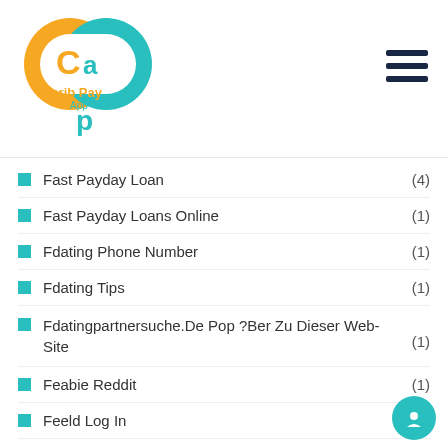Carib Pay App
Fast Payday Loan (4)
Fast Payday Loans Online (1)
Fdating Phone Number (1)
Fdating Tips (1)
Fdatingpartnersuche.De Pop ?Ber Zu Dieser Web-Site (1)
Feabie Reddit (1)
Feeld Log In (1)
Female Live XXX Sex (1)
Fetlife Adult Dating Online (2)
Fetlife Free App (1)